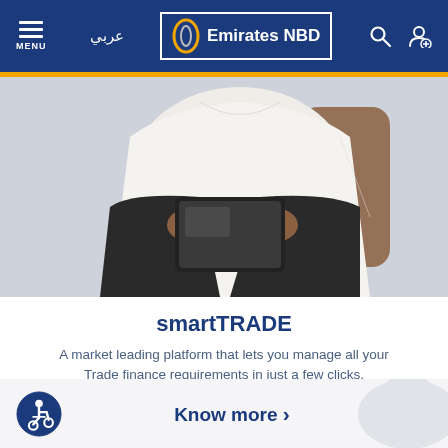Emirates NBD — MENU | عربي | Search | Account
[Figure (photo): A businessman in a white shirt and dark trousers sitting in a chair, holding a tablet device, viewed from torso down]
smartTRADE
A market leading platform that lets you manage all your Trade finance requirements in just a few clicks.
Know more >